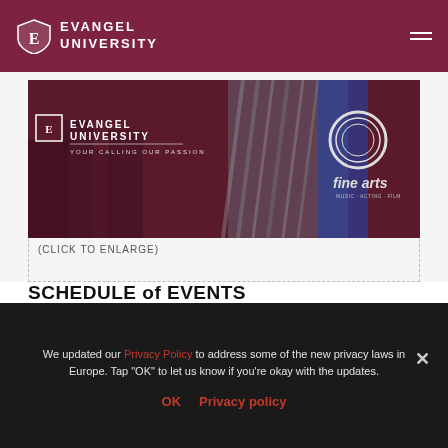Evangel University
[Figure (illustration): Evangel University Fine Arts banner image showing logo, shield, tagline 'Your Calling Our Passion' and fine arts branding with a musician in background]
(CLICK TO ENLARGE)
SCHEDULE of EVENTS
Thursday – Welcome to EU
4:30 – 6:00 p.m. – Arrival and Meet Host
We updated our Privacy Policy to address some of the new privacy laws in Europe. Tap "OK" to let us know if you're okay with the updates.